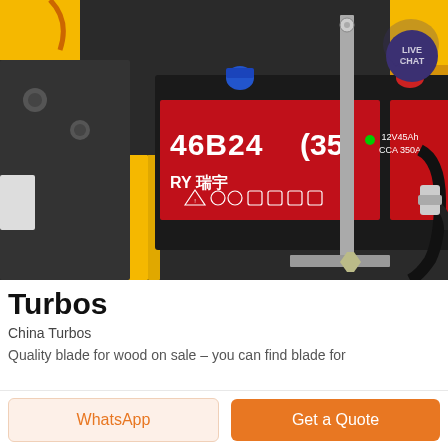[Figure (photo): Close-up photo of a car engine bay showing a red battery labeled '46B24 (35' and 'RY 瑞宇' with model number CCA 350A, mounted with a metal bracket, surrounded by yellow metal frame parts, hoses, and engine components. A 'LIVE CHAT' button badge appears in the top-right corner of the image.]
Turbos
China Turbos
Quality blade for wood on sale – you can find blade for